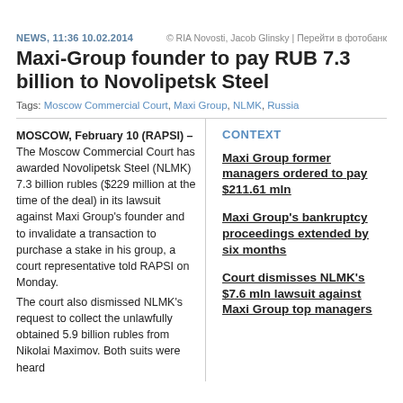NEWS, 11:36 10.02.2014   © RIA Novosti, Jacob Glinsky | Перейти в фотобанк
Maxi-Group founder to pay RUB 7.3 billion to Novolipetsk Steel
Tags: Moscow Commercial Court, Maxi Group, NLMK, Russia
MOSCOW, February 10 (RAPSI) – The Moscow Commercial Court has awarded Novolipetsk Steel (NLMK) 7.3 billion rubles ($229 million at the time of the deal) in its lawsuit against Maxi Group's founder and to invalidate a transaction to purchase a stake in his group, a court representative told RAPSI on Monday.
The court also dismissed NLMK's request to collect the unlawfully obtained 5.9 billion rubles from Nikolai Maximov. Both suits were heard
CONTEXT
Maxi Group former managers ordered to pay $211.61 mln
Maxi Group's bankruptcy proceedings extended by six months
Court dismisses NLMK's $7.6 mln lawsuit against Maxi Group top managers